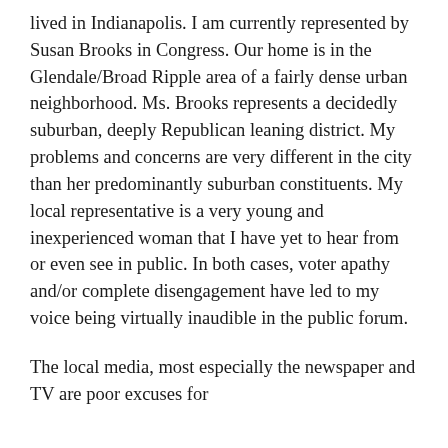lived in Indianapolis. I am currently represented by Susan Brooks in Congress. Our home is in the Glendale/Broad Ripple area of a fairly dense urban neighborhood. Ms. Brooks represents a decidedly suburban, deeply Republican leaning district. My problems and concerns are very different in the city than her predominantly suburban constituents. My local representative is a very young and inexperienced woman that I have yet to hear from or even see in public. In both cases, voter apathy and/or complete disengagement have led to my voice being virtually inaudible in the public forum.
The local media, most especially the newspaper and TV are poor excuses for investing in its constituents...